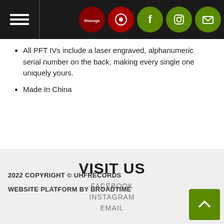Navigation header with hamburger menu and social icons: Discogs, Record store, Facebook, Instagram, Email
All PFT IVs include a laser engraved, alphanumeric serial number on the back, making every single one uniquely yours.
Made In China
VISIT US
FACEBOOK
INSTAGRAM
EMAIL
2022 COPYRIGHT © UHFRECORDS
WEBSITE PLATFORM BY BROADTIME